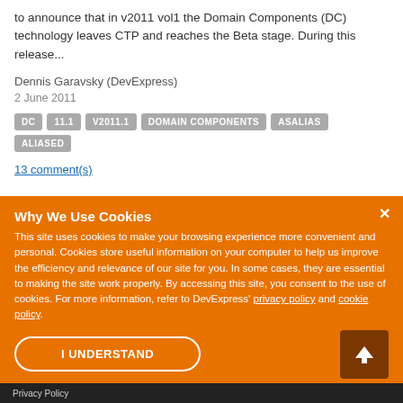to announce that in v2011 vol1 the Domain Components (DC) technology leaves CTP and reaches the Beta stage. During this release...
Dennis Garavsky (DevExpress)
2 June 2011
DC  11.1  V2011.1  DOMAIN COMPONENTS  ASALIAS  ALIASED
13 comment(s)
Why We Use Cookies
This site uses cookies to make your browsing experience more convenient and personal. Cookies store useful information on your computer to help us improve the efficiency and relevance of our site for you. In some cases, they are essential to making the site work properly. By accessing this site, you consent to the use of cookies. For more information, refer to DevExpress' privacy policy and cookie policy.
I UNDERSTAND
Privacy Policy